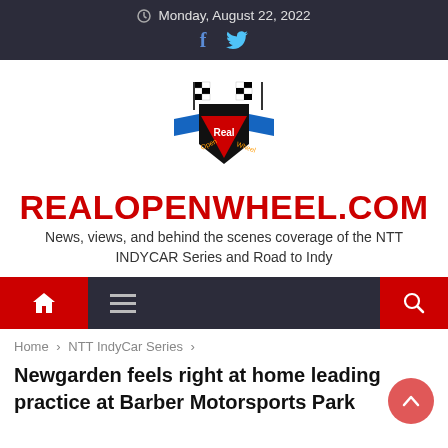Monday, August 22, 2022
[Figure (logo): RealOpenWheel.com logo with checkered flags and winged shield emblem]
REALOPENWHEEL.COM
News, views, and behind the scenes coverage of the NTT INDYCAR Series and Road to Indy
Navigation bar with home, menu, and search icons
Home › NTT IndyCar Series ›
Newgarden feels right at home leading practice at Barber Motorsports Park